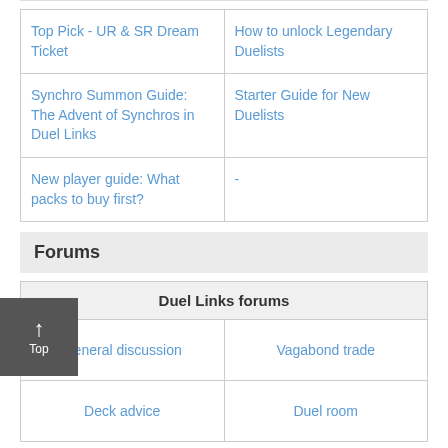| Top Pick - UR & SR Dream Ticket | How to unlock Legendary Duelists |
| Synchro Summon Guide: The Advent of Synchros in Duel Links | Starter Guide for New Duelists |
| New player guide: What packs to buy first? | - |
Forums
| Duel Links forums |  |
| --- | --- |
| General discussion | Vagabond trade |
| Deck advice | Duel room |
Decks